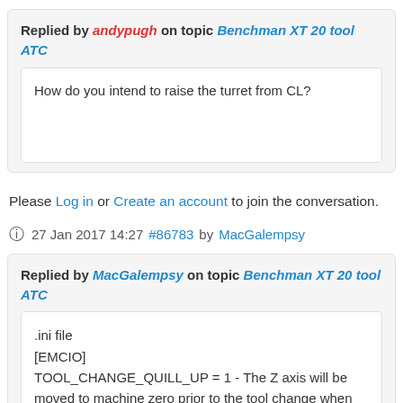Replied by andypugh on topic Benchman XT 20 tool ATC
How do you intend to raise the turret from CL?
Please Log in or Create an account to join the conversation.
27 Jan 2017 14:27 #86783 by MacGalempsy
Replied by MacGalempsy on topic Benchman XT 20 tool ATC
.ini file
[EMCIO]
TOOL_CHANGE_QUILL_UP = 1 - The Z axis will be moved to machine zero prior to the tool change when the value is 1. This is the same as issuing a G0 G53 Z0